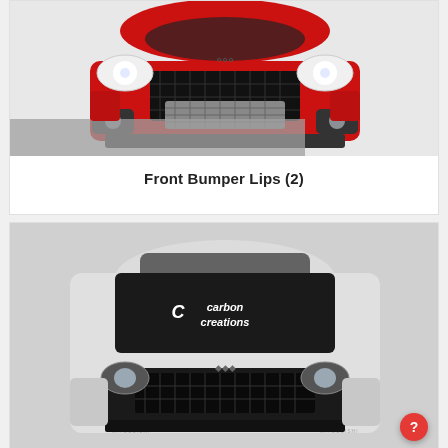[Figure (photo): Front view of a red Mitsubishi Lancer Evolution with aftermarket front bumper lip and hood, white angel eye headlights, gray intercooler visible through bumper opening]
Front Bumper Lips (2)
[Figure (photo): Front view of a silver/white Mitsubishi Lancer Evolution with a dark carbon fiber hood branded with Carbon Creations logo, front view showing black mesh grille]